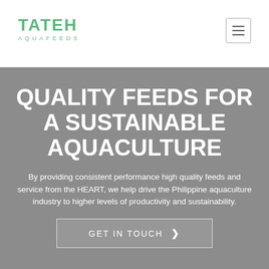[Figure (logo): Tateh Aquafeeds logo in green text]
[Figure (other): Hamburger menu icon button (three horizontal lines in a bordered box)]
QUALITY FEEDS FOR A SUSTAINABLE AQUACULTURE
By providing consistent performance high quality feeds and service from the HEART, we help drive the Philippine aquaculture industry to higher levels of productivity and sustainability.
GET IN TOUCH >